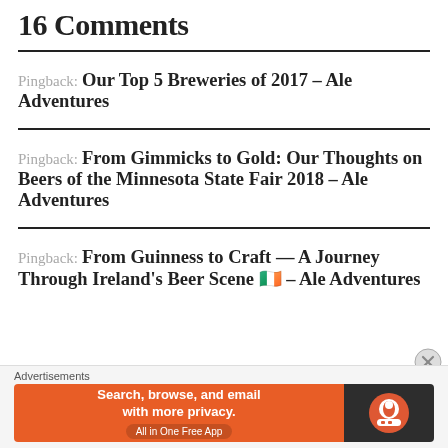16 Comments
Pingback: Our Top 5 Breweries of 2017 – Ale Adventures
Pingback: From Gimmicks to Gold: Our Thoughts on Beers of the Minnesota State Fair 2018 – Ale Adventures
Pingback: From Guinness to Craft — A Journey Through Ireland's Beer Scene 🇮🇪 – Ale Adventures
[Figure (screenshot): DuckDuckGo advertisement banner: orange section with text 'Search, browse, and email with more privacy. All in One Free App' and dark section with DuckDuckGo logo]
Advertisements